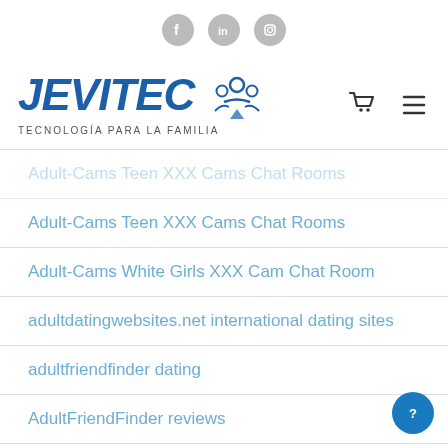Social icons: Facebook, LinkedIn, Instagram
[Figure (logo): JEVITEC logo with tagline TECNOLOGÍA PARA LA FAMILIA and people icon]
Adult-Cams Teen XXX Cams Chat Rooms
Adult-Cams White Girls XXX Cam Chat Room
adultdatingwebsites.net international dating sites
adultfriendfinder dating
AdultFriendFinder reviews
AdultFriendFinder visitors
Adultspace fazit
adultspace review